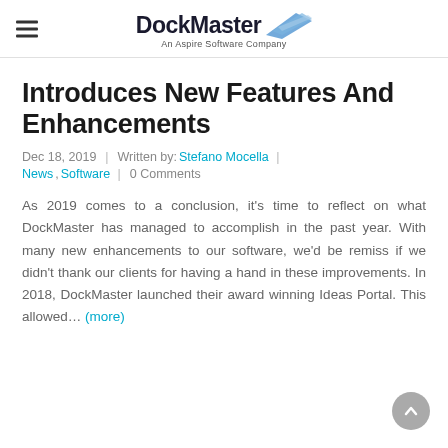DockMaster — An Aspire Software Company
Introduces New Features And Enhancements
Dec 18, 2019 | Written by: Stefano Mocella | News, Software | 0 Comments
As 2019 comes to a conclusion, it's time to reflect on what DockMaster has managed to accomplish in the past year. With many new enhancements to our software, we'd be remiss if we didn't thank our clients for having a hand in these improvements. In 2018, DockMaster launched their award winning Ideas Portal. This allowed… (more)